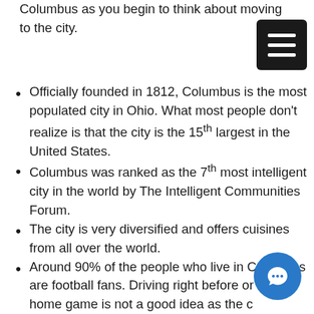Columbus as you begin to think about moving to the city.
Officially founded in 1812, Columbus is the most populated city in Ohio. What most people don't realize is that the city is the 15th largest in the United States.
Columbus was ranked as the 7th most intelligent city in the world by The Intelligent Communities Forum.
The city is very diversified and offers cuisines from all over the world.
Around 90% of the people who live in Columbus are football fans. Driving right before or after a home game is not a good idea as the city comes to a standstill. Of course, on the other hand, driving during a game, if you happen not